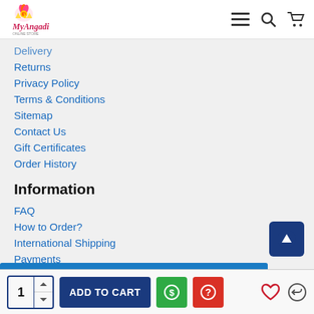My Angadi [logo with navigation icons]
Delivery
Returns
Privacy Policy
Terms & Conditions
Sitemap
Contact Us
Gift Certificates
Order History
Information
FAQ
How to Order?
International Shipping
Payments
Refunds
Tanjore Painting Frames
1 [qty] ADD TO CART [add to cart button] [dollar icon] [help icon] [heart icon] [return icon]